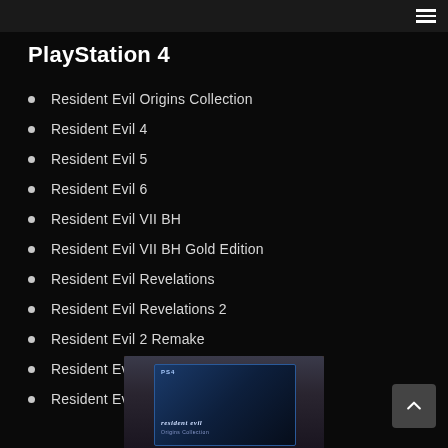PlayStation 4
Resident Evil Origins Collection
Resident Evil 4
Resident Evil 5
Resident Evil 6
Resident Evil VII BH
Resident Evil VII BH Gold Edition
Resident Evil Revelations
Resident Evil Revelations 2
Resident Evil 2 Remake
Resident Evil 3 Remake
Resident Evil Village
[Figure (photo): PS4 game case of Resident Evil Origins Collection displayed on a wooden surface]